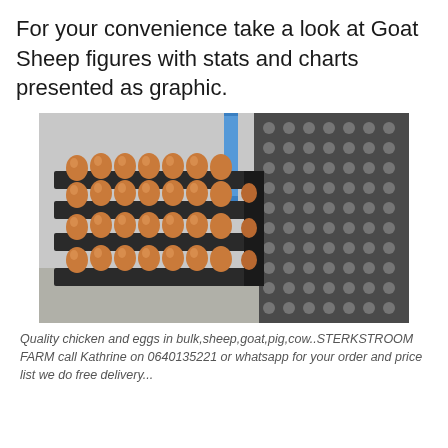For your convenience take a look at Goat Sheep figures with stats and charts presented as graphic.
[Figure (photo): Stacked trays of brown chicken eggs in dark plastic egg cartons, with more empty egg trays visible in the background, taken at a farm.]
Quality chicken and eggs in bulk,sheep,goat,pig,cow..STERKSTROOM FARM call Kathrine on 0640135221 or whatsapp for your order and price list we do free delivery...